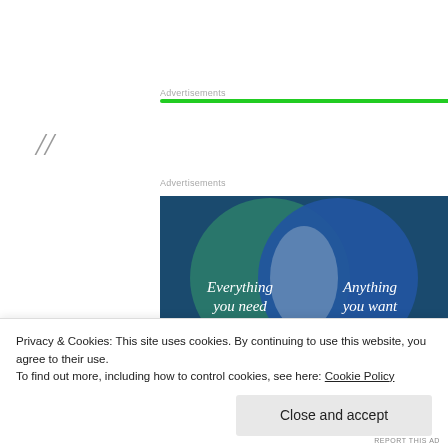Advertisements
[Figure (other): Green advertisement banner bar]
//
Advertisements
[Figure (illustration): Venn diagram advertisement with two overlapping circles on dark blue/teal background. Left circle (teal/green): 'Everything you need'. Right circle (blue): 'Anything you want'. Intersection is lighter blue-grey.]
Privacy & Cookies: This site uses cookies. By continuing to use this website, you agree to their use.
To find out more, including how to control cookies, see here: Cookie Policy
Close and accept